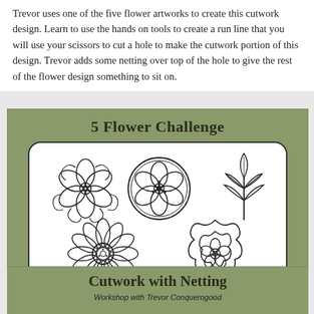Trevor uses one of the five flower artworks to create this cutwork design. Learn to use the hands on tools to create a run line that you will use your scissors to cut a hole to make the cutwork portion of this design. Trevor adds some netting over top of the hole to give the rest of the flower design something to sit on.
[Figure (illustration): 5 Flower Challenge embroidery design card on green/olive background showing five flower designs in a white rounded rectangle panel: ornate scrolling flower (top left), circular petal/leaf motif (top center), leaf sprig (top right), daisy/sunflower (bottom left), large round peony/rose (bottom right). Below the panel: 'Cutwork with Netting' title and 'Workshop with Trevor Conquerogood' subtitle with a small profile photo.]